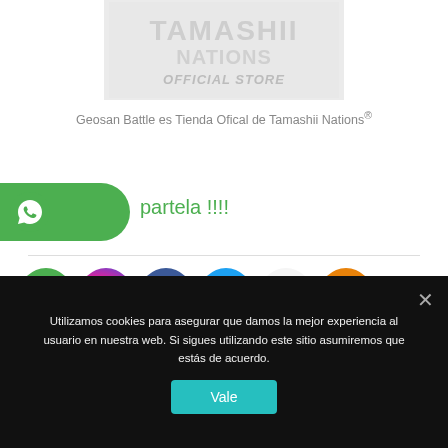[Figure (logo): Tamashii Nations Official Store logo/banner in light gray]
Geosan Battle es Tienda Ofical de Tamashii Nations®
[Figure (other): Green WhatsApp share button on left edge with rounded right side]
partela !!!!
[Figure (other): Row of social media icons: WhatsApp, Instagram, Facebook, Twitter, Gmail, Share]
Utilizamos cookies para asegurar que damos la mejor experiencia al usuario en nuestra web. Si sigues utilizando este sitio asumiremos que estás de acuerdo.
Vale